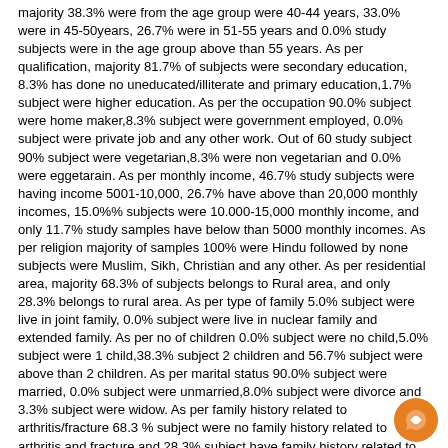majority 38.3% were from the age group were 40-44 years, 33.0% were in 45-50years, 26.7% were in 51-55 years and 0.0% study subjects were in the age group above than 55 years. As per qualification, majority 81.7% of subjects were secondary education, 8.3% has done no uneducated/illiterate and primary education,1.7% subject were higher education. As per the occupation 90.0% subject were home maker,8.3% subject were government employed, 0.0% subject were private job and any other work. Out of 60 study subject 90% subject were vegetarian,8.3% were non vegetarian and 0.0% were eggetarain. As per monthly income, 46.7% study subjects were having income 5001-10,000, 26.7% have above than 20,000 monthly incomes, 15.0%% subjects were 10.000-15,000 monthly income, and only 11.7% study samples have below than 5000 monthly incomes. As per religion majority of samples 100% were Hindu followed by none subjects were Muslim, Sikh, Christian and any other. As per residential area, majority 68.3% of subjects belongs to Rural area, and only 28.3% belongs to rural area. As per type of family 5.0% subject were live in joint family, 0.0% subject were live in nuclear family and extended family. As per no of children 0.0% subject were no child,5.0% subject were 1 child,38.3% subject 2 children and 56.7% subject were above than 2 children. As per marital status 90.0% subject were married, 0.0% subject were unmarried,8.0% subject were divorce and 3.3% subject were widow. As per family history related to arthritis/fracture 68.3 % subject were no family history related to arthritis and fracture and 28.3% subject have family history related to arthritis and fracture. As per source of information, 20.0% study subjects had information from the television/radio, 8.3% had knowledge from the relatives /friends, while 3.3% subjects had knowledge from the internet and 68.3% subjects had knowledge from any other